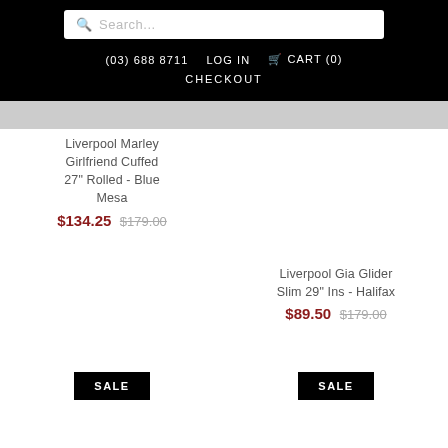Search...
(03) 688 8711  LOG IN  CART (0)  CHECKOUT
Liverpool Marley Girlfriend Cuffed 27" Rolled - Blue Mesa
$134.25  $179.00
Liverpool Gia Glider Slim 29" Ins - Halifax
$89.50  $179.00
SALE
SALE